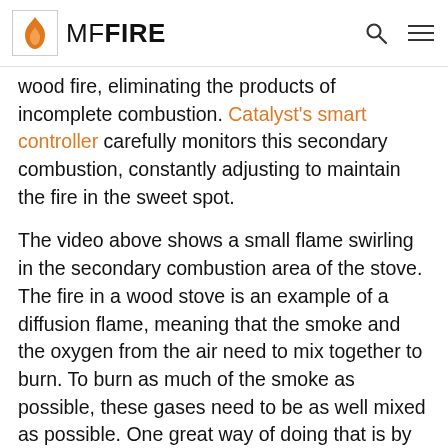MF FIRE
wood fire, eliminating the products of incomplete combustion. Catalyst's smart controller carefully monitors this secondary combustion, constantly adjusting to maintain the fire in the sweet spot.
The video above shows a small flame swirling in the secondary combustion area of the stove. The fire in a wood stove is an example of a diffusion flame, meaning that the smoke and the oxygen from the air need to mix together to burn. To burn as much of the smoke as possible, these gases need to be as well mixed as possible. One great way of doing that is by introducing swirl, as shown in the video above. In our Catalyst wood burning stoves, the secondary combustion system makes swirling vortices, that